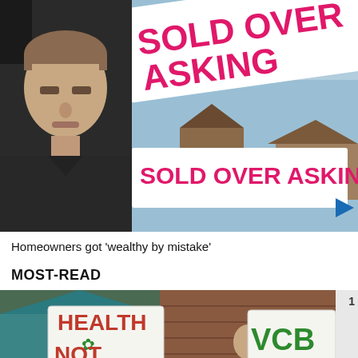[Figure (photo): Split image: left side shows a young man in a dark shirt against a dark background; right side shows real estate signs reading 'SOLD OVER ASKING' in large pink/magenta bold text on white boards, with a blue sky and houses in background.]
Homeowners got 'wealthy by mistake'
MOST-READ
[Figure (photo): Protest scene with people holding signs including 'HEALTH NOT' with a cannabis leaf graphic and 'VCB' partial text visible, against a teal tent and brick building background.]